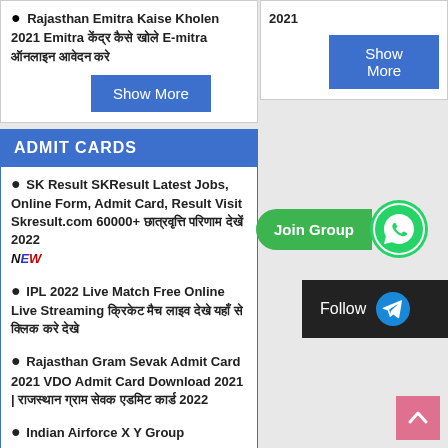Rajasthan Emitra Kaise Kholen 2021 Emitra केंद्र कैसे खोले E-mitra ऑनलाइन आवेदन करे
Show More
ADMIT CARDS
SK Result SKResult Latest Jobs, Online Form, Admit Card, Result Visit Skresult.com 60000+ छात्रवृत्ति परिणाम देखें 2022 NEW
IPL 2022 Live Match Free Online Live Streaming क्रिकेट मैच लाइव देखे यहाँ से क्लिक करे देखे
Rajasthan Gram Sevak Admit Card 2021 VDO Admit Card Download 2021 | राजस्थान ग्राम सेवक एडमिट कार्ड 2022
Indian Airforce X Y Group
2021
Show More
[Figure (other): WhatsApp Join Group button with WhatsApp icon]
[Figure (other): Telegram Follow button with Telegram icon]
[Figure (other): Back to top pink button with up arrow]